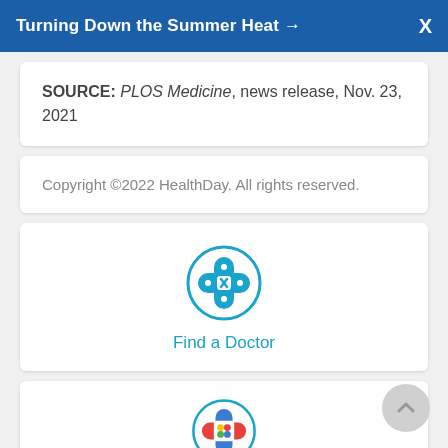Turning Down the Summer Heat →  X
SOURCE: PLOS Medicine, news release, Nov. 23, 2021
Copyright ©2022 HealthDay. All rights reserved.
[Figure (logo): Teal circle icon with a bandage cross symbol and text 'Find a Doctor']
[Figure (logo): Teal circle icon with a colorful heart/cross symbol (rainbow colors)]